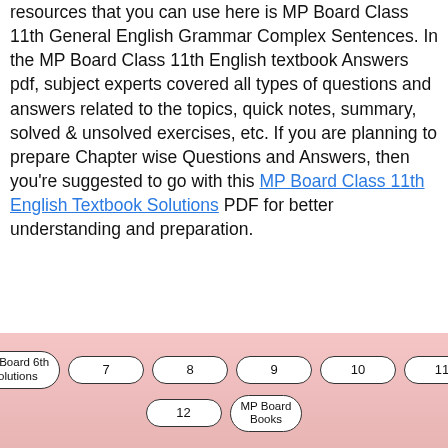resources that you can use here is MP Board Class 11th General English Grammar Complex Sentences. In the MP Board Class 11th English textbook Answers pdf, subject experts covered all types of questions and answers related to the topics, quick notes, summary, solved & unsolved exercises, etc. If you are planning to prepare Chapter wise Questions and Answers, then you're suggested to go with this MP Board Class 11th English Textbook Solutions PDF for better understanding and preparation.
MP Board Class 11th General English Grammar
MP Board 6th Solutions
7
8
9
10
11
12
MP Board Books